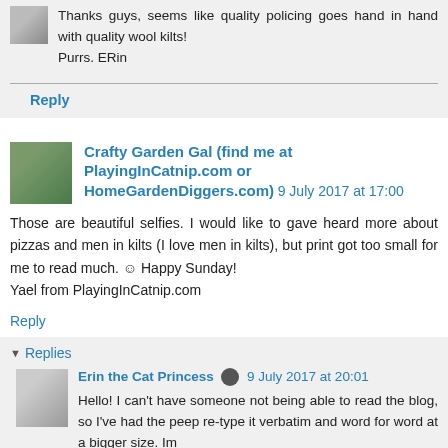Thanks guys, seems like quality policing goes hand in hand with quality wool kilts!
Purrs. ERin
Reply
Crafty Garden Gal (find me at PlayingInCatnip.com or HomeGardenDiggers.com)  9 July 2017 at 17:00
Those are beautiful selfies. I would like to gave heard more about pizzas and men in kilts (I love men in kilts), but print got too small for me to read much. ☺ Happy Sunday!
Yael from PlayingInCatnip.com
Reply
Replies
Erin the Cat Princess  9 July 2017 at 20:01
Hello! I can't have someone not being able to read the blog, so I've had the peep re-type it verbatim and word for word at a bigger size. Im